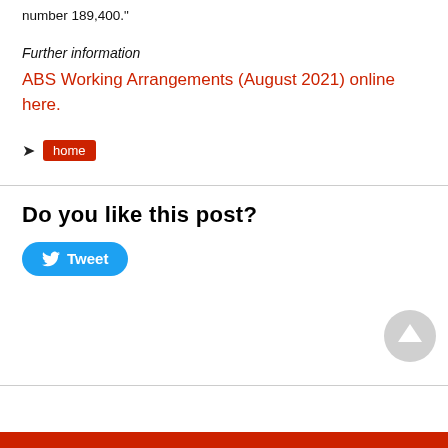number 189,400.”
Further information
ABS Working Arrangements (August 2021) online here.
home
Do you like this post?
[Figure (other): Tweet button with Twitter bird icon]
[Figure (other): Scroll to top circular button with upward arrow]